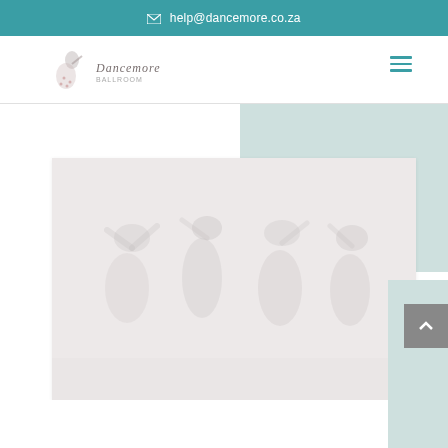✉ help@dancemore.co.za
[Figure (logo): Dancemore logo with a dancing figure and text 'Dancemore' with tagline]
[Figure (photo): Faded/washed out photo of dance performers on stage]